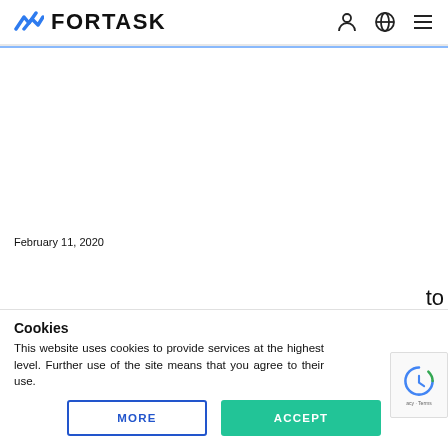FORTASK
February 11, 2020
Cookies
This website uses cookies to provide services at the highest level. Further use of the site means that you agree to their use.